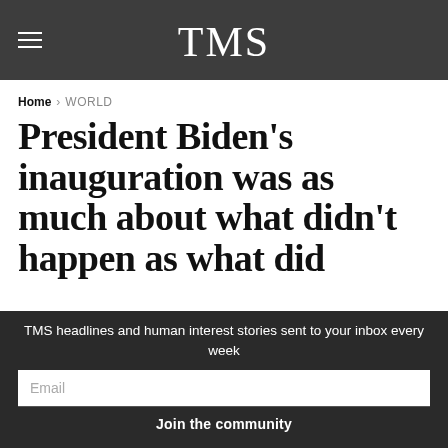TMS
Home > WORLD
President Biden's inauguration was as much about what didn't happen as what did
by The Millennial Source — January 21, 2021
TMS headlines and human interest stories sent to your inbox every week
Email
Join the community